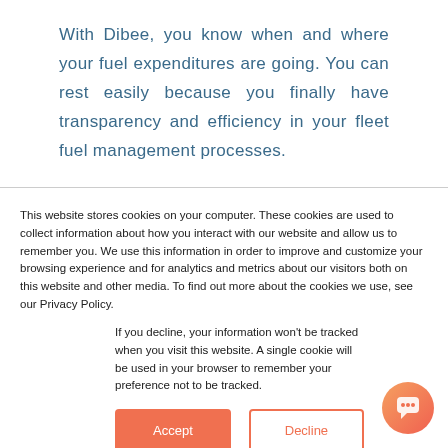With Dibee, you know when and where your fuel expenditures are going. You can rest easily because you finally have transparency and efficiency in your fleet fuel management processes.
This website stores cookies on your computer. These cookies are used to collect information about how you interact with our website and allow us to remember you. We use this information in order to improve and customize your browsing experience and for analytics and metrics about our visitors both on this website and other media. To find out more about the cookies we use, see our Privacy Policy.
If you decline, your information won't be tracked when you visit this website. A single cookie will be used in your browser to remember your preference not to be tracked.